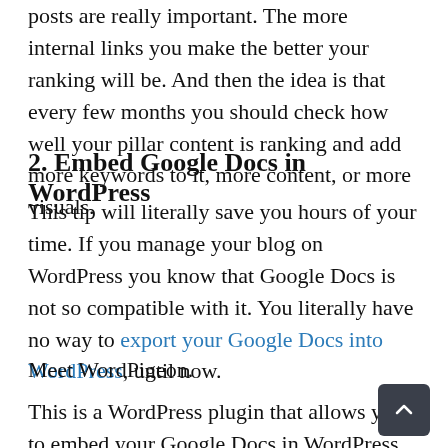posts are really important. The more internal links you make the better your ranking will be. And then the idea is that every few months you should check how well your pillar content is ranking and add more keywords to it, more content, or more visuals.
2. Embed Google Docs in WordPress
This tip will literally save you hours of your time. If you manage your blog on WordPress you know that Google Docs is not so compatible with it. You literally have no way to export your Google Docs into WordPress, until now.
Meet WordPigeon.
This is a WordPress plugin that allows you to embed your Google Docs in WordPress with just one click. It